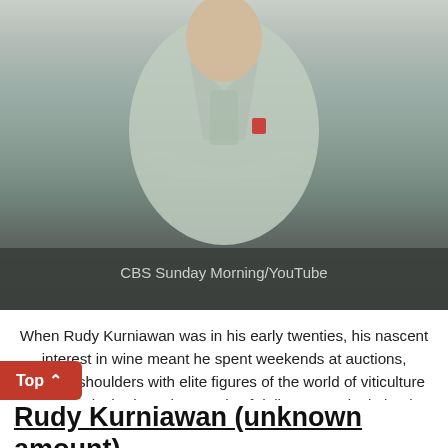[Figure (photo): Person in a light grey suit with arms crossed, photographed outdoors on a street. Caption reads: CBS Sunday Morning/YouTube]
CBS Sunday Morning/YouTube
When Rudy Kurniawan was in his early twenties, his nascent interest in wine meant he spent weekends at auctions, rubbing shoulders with elite figures of the world of viticulture as they splashed out thousands of dollars on a single bottle. He quickly developed a taste for Burgundy, building a cellar worth millions from which he exclusively sold bottles to wealthy collectors. Except what was in the bottles wasn't what the buyers thought – rather, it was a blend of cheap wines that had been mixed by Kurniawan to produce a counterfeit version of the real thing.
Rudy Kurniawan (unknown amount)